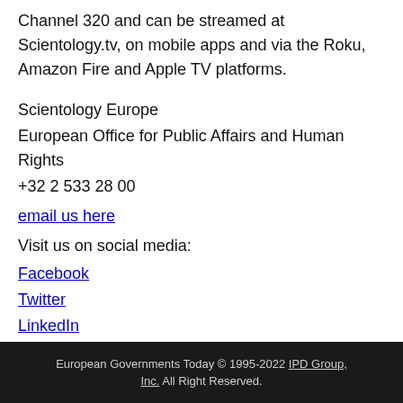Channel 320 and can be streamed at Scientology.tv, on mobile apps and via the Roku, Amazon Fire and Apple TV platforms.
Scientology Europe
European Office for Public Affairs and Human Rights
+32 2 533 28 00
email us here
Visit us on social media:
Facebook
Twitter
LinkedIn
European Governments Today © 1995-2022 IPD Group, Inc. All Right Reserved.